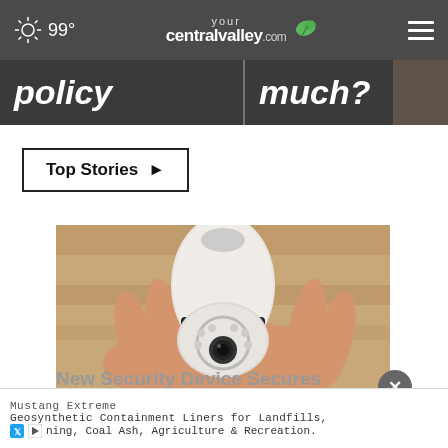99° yourcentralvalley.com
policy
much?
Top Stories ▸
[Figure (photo): Hand holding a white security camera device shaped like a light bulb with LED ring and lens, against a wooden background]
New Security Device Secures My
Mustang Extreme
Geosynthetic Containment Liners for Landfills, ning, Coal Ash, Agriculture & Recreation.